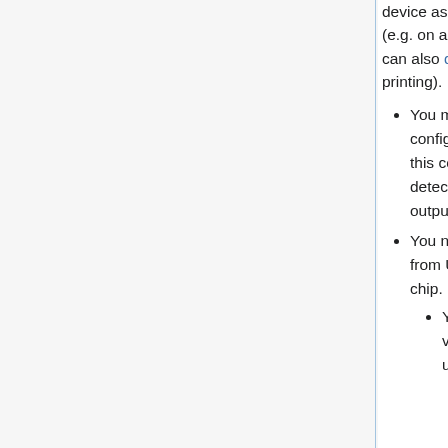device as SPI programmer you have to setup a small circuit (e.g. on a breadboard). See the schematics for details (you can also download the schematics as PDF for easier printing).
You must connect/shorten pins 8 and 9, which configures the device to be powered by USB. Without this connection it will not be powered, and thus not be detected by your OS (e.g. it will not appear in the lsusb output).
You need a 3.3V voltage regulator to convert the 5V from USB to 3.3V, so you can power the 3.3V SPI BIOS chip.
You can probably use pretty much any 3.3V voltage regulator, e.g. LD33V or LD1117xx. For usage on a breadboard the TO...